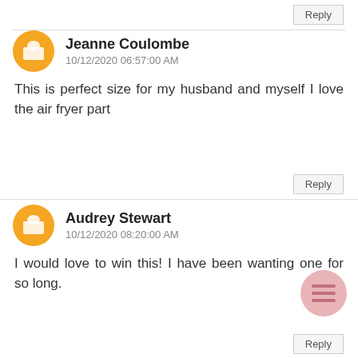Reply
Jeanne Coulombe
10/12/2020 06:57:00 AM
This is perfect size for my husband and myself I love the air fryer part
Reply
Audrey Stewart
10/12/2020 08:20:00 AM
I would love to win this! I have been wanting one for so long.
Reply